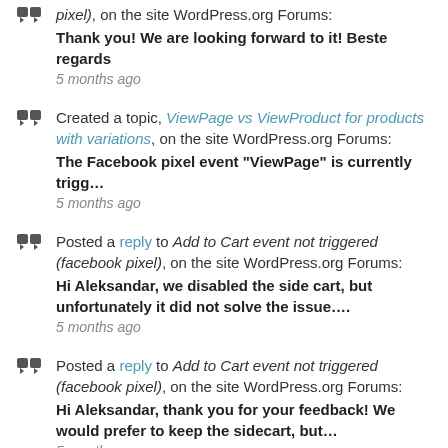pixel), on the site WordPress.org Forums: Thank you! We are looking forward to it! Beste regards — 5 months ago
Created a topic, ViewPage vs ViewProduct for products with variations, on the site WordPress.org Forums: The Facebook pixel event "ViewPage" is currently trigg... — 5 months ago
Posted a reply to Add to Cart event not triggered (facebook pixel), on the site WordPress.org Forums: Hi Aleksandar, we disabled the side cart, but unfortunately it did not solve the issue.... — 5 months ago
Posted a reply to Add to Cart event not triggered (facebook pixel), on the site WordPress.org Forums: Hi Aleksandar, thank you for your feedback! We would prefer to keep the sidecart, but... — 5 months ago
Created a topic, Add to Cart event not triggered (facebook pixel), on the site WordPress.org Forums: Hi...